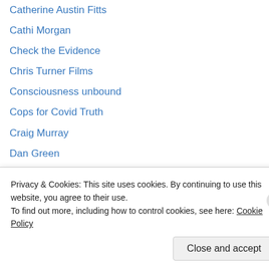Catherine Austin Fitts
Cathi Morgan
Check the Evidence
Chris Turner Films
Consciousness unbound
Cops for Covid Truth
Craig Murray
Dan Green
David Icke
David Murrin
Dr. David Martin
End Of The American Dream
Forbidden Knowledge TV
FreemanTV
Privacy & Cookies: This site uses cookies. By continuing to use this website, you agree to their use. To find out more, including how to control cookies, see here: Cookie Policy
Close and accept